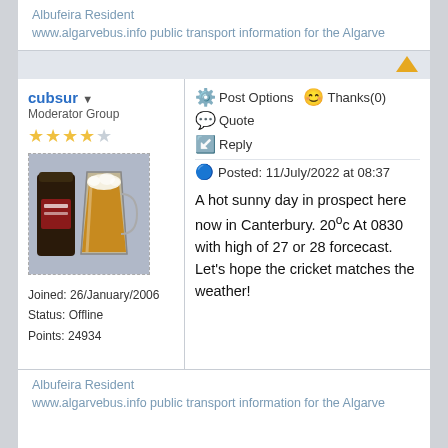Albufeira Resident
www.algarvebus.info public transport information for the Algarve
cubsur ▼ Moderator Group
Post Options  Thanks(0)  Quote  Reply  Posted: 11/July/2022 at 08:37
[Figure (photo): User avatar photo showing a pint of beer next to a can]
Joined: 26/January/2006
Status: Offline
Points: 24934
A hot sunny day in prospect here now in Canterbury. 20oc At 0830 with high of 27 or 28 forcecast. Let's hope the cricket matches the weather!
Albufeira Resident
www.algarvebus.info public transport information for the Algarve